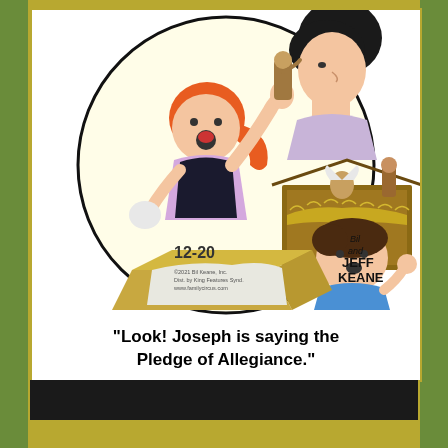[Figure (illustration): Family Circus comic strip dated 12-20, by Bil and Jeff Keane. A circular panel showing children unpacking a nativity set. A girl with red hair holds up a Joseph figurine with its hand raised. A boy looks up at her. An adult woman watches from above. Copyright 2021 Bil Keane, Inc. Dist. by King Features Synd. www.familycircus.com]
"Look! Joseph is saying the Pledge of Allegiance."